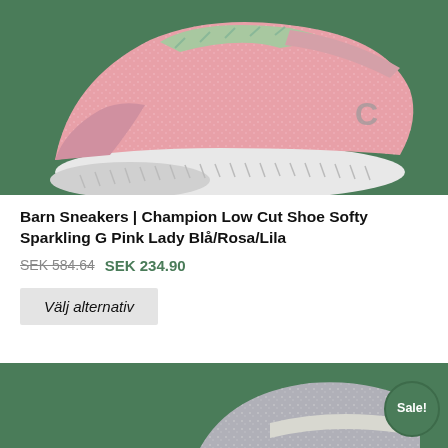[Figure (photo): Pink glittery Champion sneaker/trainer shoe photographed against a green background, close-up showing the upper mesh fabric with sparkle texture, green laces, white sole, and Champion logo on the side.]
Barn Sneakers | Champion Low Cut Shoe Softy Sparkling G Pink Lady Blå/Rosa/Lila
SEK 584.64 SEK 234.90
Välj alternativ
[Figure (photo): Partial view of another shoe (grey/silver glittery boot or sneaker) against green background, with a green Sale! badge in the bottom right corner.]